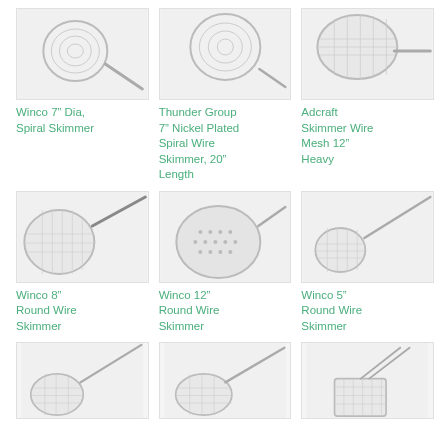[Figure (photo): Winco 7 inch Dia Spiral Skimmer product image]
[Figure (photo): Thunder Group 7 inch Nickel Plated Spiral Wire Skimmer 20 inch Length product image]
[Figure (photo): Adcraft Skimmer Wire Mesh 12 inch Heavy product image]
Winco 7” Dia, Spiral Skimmer
Thunder Group 7” Nickel Plated Spiral Wire Skimmer, 20” Length
Adcraft Skimmer Wire Mesh 12” Heavy
[Figure (photo): Winco 8 inch Round Wire Skimmer product image]
[Figure (photo): Winco 12 inch Round Wire Skimmer product image]
[Figure (photo): Winco 5 inch Round Wire Skimmer product image]
Winco 8” Round Wire Skimmer
Winco 12” Round Wire Skimmer
Winco 5” Round Wire Skimmer
[Figure (photo): Skimmer product image row 3 left]
[Figure (photo): Skimmer product image row 3 middle]
[Figure (photo): Skimmer product image row 3 right]